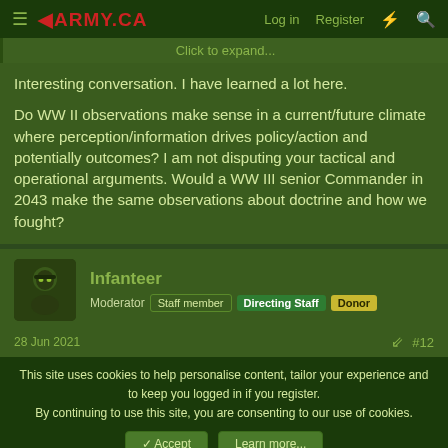army.ca — Log in  Register
Click to expand...
Interesting conversation. I have learned a lot here.

Do WW II observations make sense in a current/future climate where perception/information drives policy/action and potentially outcomes? I am not disputing your tactical and operational arguments. Would a WW III senior Commander in 2043 make the same observations about doctrine and how we fought?
Infanteer
Moderator  Staff member  Directing Staff  Donor
28 Jun 2021  #12
This site uses cookies to help personalise content, tailor your experience and to keep you logged in if you register.
By continuing to use this site, you are consenting to our use of cookies.
Accept  Learn more...